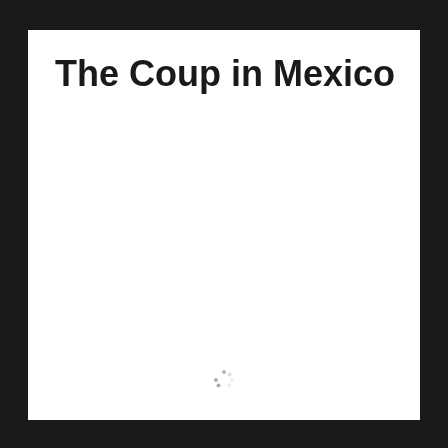The Coup in Mexico
[Figure (other): Loading spinner icon, small circular dots arranged in a circle]